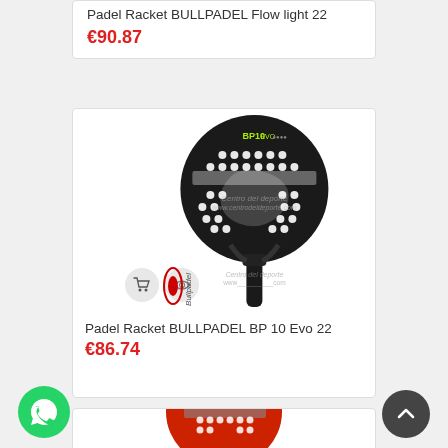Padel Racket BULLPADEL Flow light 22
€90.87
[Figure (photo): Padel racket BULLPADEL BP 10 Evo 22 product photo - black round racket with white dot pattern and BP10 EVO branding, with watermark Centro del deporte .com and Bullpadel logo overlay]
Padel Racket BULLPADEL BP 10 Evo 22
€86.74
[Figure (photo): Partial view of a red and black padel racket at the bottom of the page]